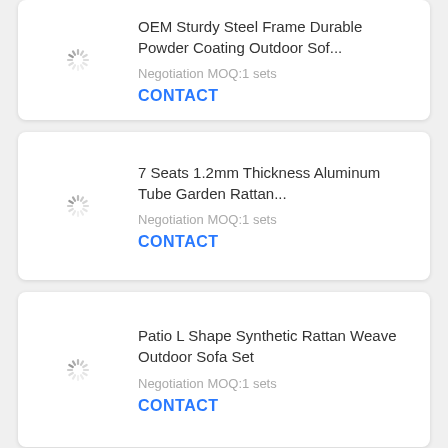[Figure (other): Loading spinner icon for product image placeholder]
OEM Sturdy Steel Frame Durable Powder Coating Outdoor Sof...
Negotiation MOQ:1 sets
CONTACT
[Figure (other): Loading spinner icon for product image placeholder]
7 Seats 1.2mm Thickness Aluminum Tube Garden Rattan...
Negotiation MOQ:1 sets
CONTACT
[Figure (other): Loading spinner icon for product image placeholder]
Patio L Shape Synthetic Rattan Weave Outdoor Sofa Set
Negotiation MOQ:1 sets
CONTACT